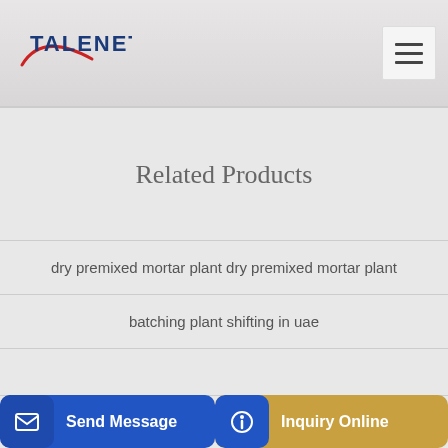TALENET
Related Products
dry premixed mortar plant dry premixed mortar plant
batching plant shifting in uae
e Tru…
Send Message
Inquiry Online